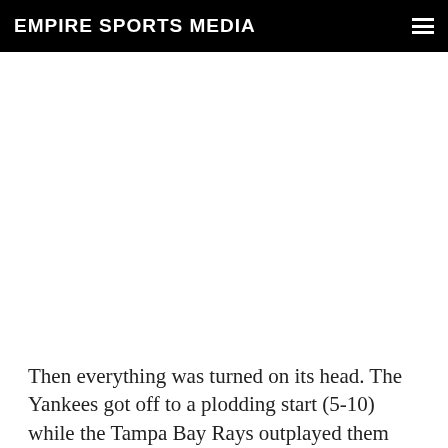EMPIRE SPORTS MEDIA
Then everything was turned on its head. The Yankees got off to a plodding start (5-10) while the Tampa Bay Rays outplayed them (7-8), and to add